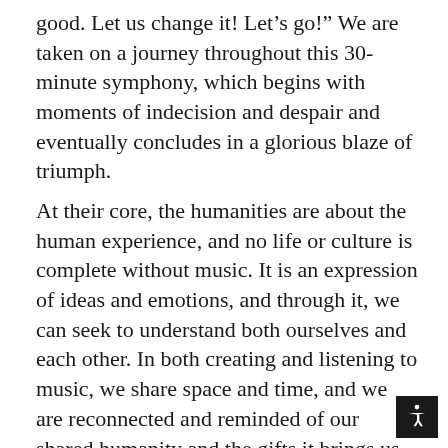good. Let us change it! Let’s go!” We are taken on a journey throughout this 30-minute symphony, which begins with moments of indecision and despair and eventually concludes in a glorious blaze of triumph.
At their core, the humanities are about the human experience, and no life or culture is complete without music. It is an expression of ideas and emotions, and through it, we can seek to understand both ourselves and each other. In both creating and listening to music, we share space and time, and we are reconnected and reminded of our shared humanity and the gifts it brings us.